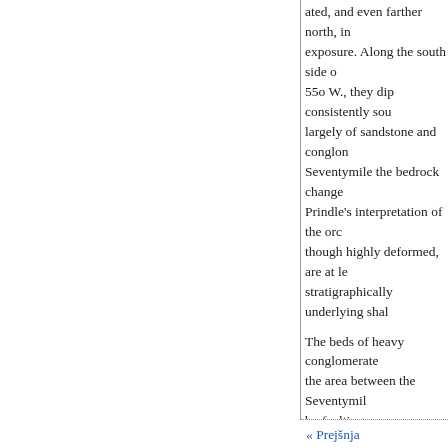...ated, and even farther north, in exposure. Along the south side o... 55o W., they dip consistently sou... largely of sandstone and conglo... Seventymile the bedrock change... Prindle's interpretation of the orc... though highly deformed, are at l... stratigraphically underlying shal...
The beds of heavy conglomerate... the area between the Seventymill... by faulting unquestionably expla... Seventymile to the Yukon. It is th... even though the greatest distance... may not be present in that portio... estimated the thickness of the se...
07 Mertie, J. B., Jr., and Har... Bull. 754, pp. 71-72, 1924.
to Mertie, J. B., Jr., The occurre... S. Geol. Survey Bull. 739, pp. ...
1° Prindle, L. M., A geologic... Bull. 538, p. 33, 1913.
« Prejšnja